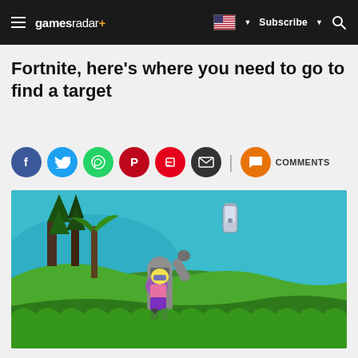gamesradar+ | Subscribe | Search
Fortnite, here's where you need to go to find a target
[Figure (other): Social sharing icons row: Facebook, Twitter, WhatsApp, Pinterest, Flipboard, Email, Comments]
[Figure (screenshot): Fortnite gameplay screenshot showing two characters on a green grassy hill with trees and blue sky/water in the background. A spray can appears floating in the upper center of the scene.]